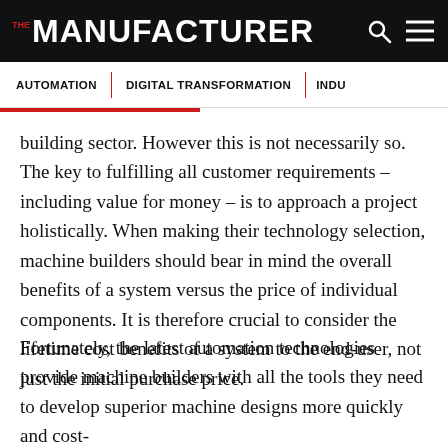THE MANUFACTURER
AUTOMATION | DIGITAL TRANSFORMATION | INDU
building sector. However this is not necessarily so. The key to fulfilling all customer requirements – including value for money – is to approach a project holistically. When making their technology selection, machine builders should bear in mind the overall benefits of a system versus the price of individual components. It is therefore crucial to consider the lifetime cost benefits of a system to the end-user, not just the initial purchase price.
Fortunately, the latest automation technologies provide machine builders with all the tools they need to develop superior machine designs more quickly and cost-